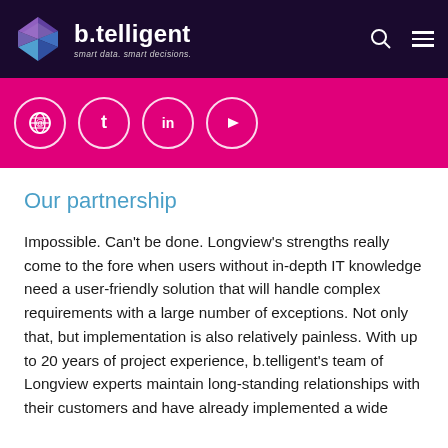[Figure (logo): b.telligent logo with geometric cube icon and tagline 'smart data. smart decisions.' on dark navy background with search and hamburger menu icons]
[Figure (infographic): Magenta social bar with four circular social media icons: globe/@, Twitter, LinkedIn, YouTube]
Our partnership
Impossible. Can't be done. Longview's strengths really come to the fore when users without in-depth IT knowledge need a user-friendly solution that will handle complex requirements with a large number of exceptions. Not only that, but implementation is also relatively painless. With up to 20 years of project experience, b.telligent's team of Longview experts maintain long-standing relationships with their customers and have already implemented a wide variety of solutions for all products and technologies.